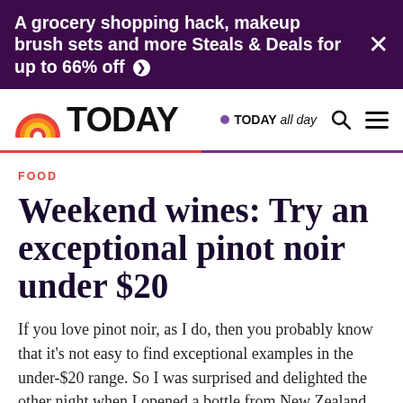A grocery shopping hack, makeup brush sets and more Steals & Deals for up to 66% off ▶
[Figure (logo): TODAY show logo with rainbow arc icon and TODAY wordmark, plus TODAY all day nav links, search and menu icons]
FOOD
Weekend wines: Try an exceptional pinot noir under $20
If you love pinot noir, as I do, then you probably know that it's not easy to find exceptional examples in the under-$20 range. So I was surprised and delighted the other night when I opened a bottle from New Zealand, Kim Crawford's 2011 Marlborough Pinot Noir. Kim Crawford has been one of New